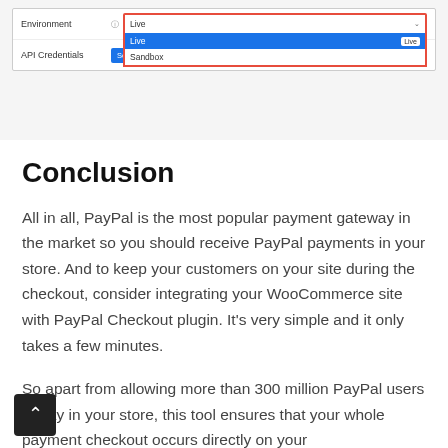[Figure (screenshot): Screenshot of a WooCommerce PayPal settings panel showing the Environment dropdown expanded with 'Live' and 'Sandbox' options, and an API Credentials row with a setup button and link.]
Conclusion
All in all, PayPal is the most popular payment gateway in the market so you should receive PayPal payments in your store. And to keep your customers on your site during the checkout, consider integrating your WooCommerce site with PayPal Checkout plugin. It's very simple and it only takes a few minutes.
So apart from allowing more than 300 million PayPal users to pay in your store, this tool ensures that your whole payment checkout occurs directly on your